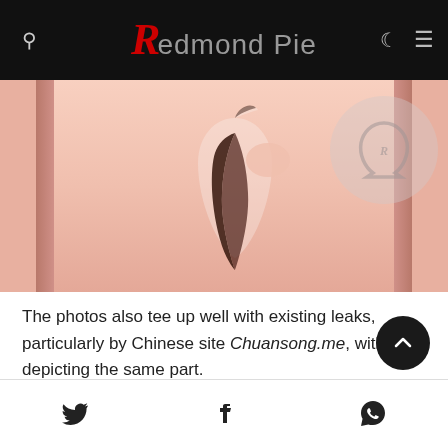Redmond Pie
[Figure (photo): Rose gold iPhone back showing Apple logo, partial view of the device's rear panel]
The photos also tee up well with existing leaks, particularly by Chinese site Chuansong.me, with both depicting the same part.
Social share icons: Twitter, Facebook, WhatsApp